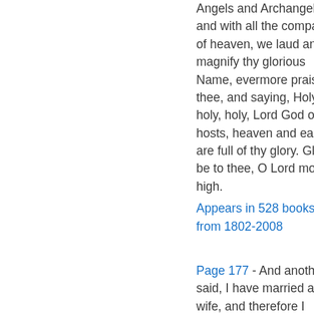Angels and Archangels, and with all the company of heaven, we laud and magnify thy glorious Name, evermore praising thee, and saying, Holy, holy, holy, Lord God of hosts, heaven and earth are full of thy glory. Glory be to thee, O Lord most high.
Appears in 528 books from 1802-2008
Page 177 - And another said, I have married a wife, and therefore I cannot come. So that servant came, and shewed his lord these things. Then the master of the house being angry said to his servant, Go